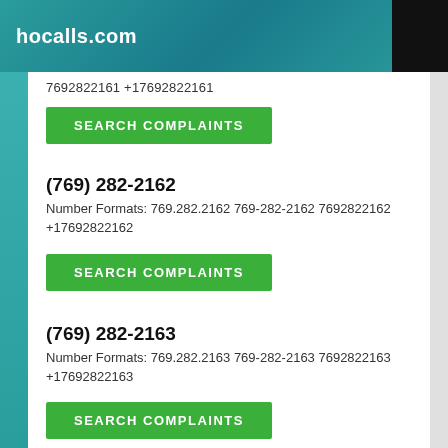hocalls.com
7692822161 +17692822161
SEARCH COMPLAINTS
(769) 282-2162
Number Formats: 769.282.2162 769-282-2162 7692822162 +17692822162
SEARCH COMPLAINTS
(769) 282-2163
Number Formats: 769.282.2163 769-282-2163 7692822163 +17692822163
SEARCH COMPLAINTS
(769) 282-2164
Number Formats: 769.282.2164 769-282-2164 7692822164 +17692822164